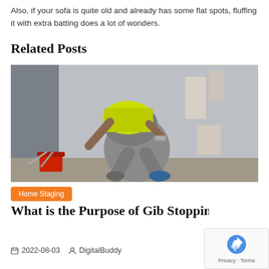Also, if your sofa is quite old and already has some flat spots, fluffing it with extra batting does a lot of wonders.
Related Posts
[Figure (photo): A worker in a yellow high-visibility shirt and grey trousers bending over while applying plaster or gib stopping to a drywall surface, with tools and a red bucket visible on the floor.]
Home Staging
What is the Purpose of Gib Stopping
2022-08-03   DigitalBuddy